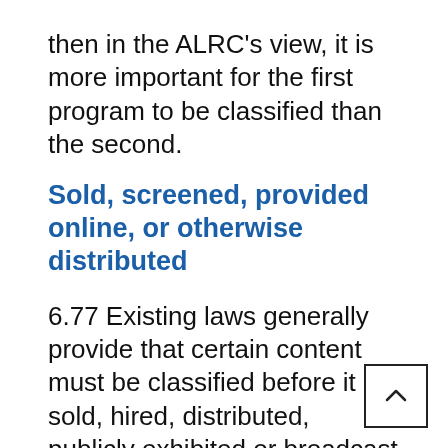then in the ALRC's view, it is more important for the first program to be classified than the second.
Sold, screened, provided online, or otherwise distributed
6.77 Existing laws generally provide that certain content must be classified before it is sold, hired, distributed, publicly exhibited or broadcast—rather than merely possessed or lent to friends and family. In New South Wales, for example, it is not an offence to possess an unclassified film, or to